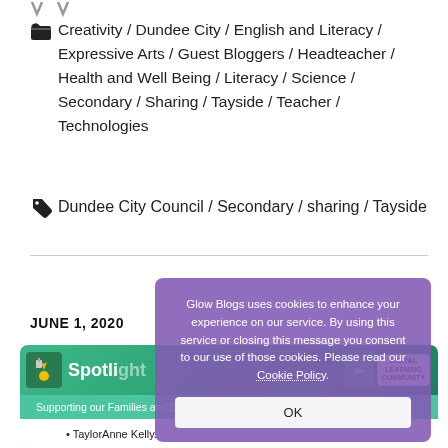Creativity / Dundee City / English and Literacy / Expressive Arts / Guest Bloggers / Headteacher / Health and Well Being / Literacy / Science / Secondary / Sharing / Tayside / Teacher / Technologies
Dundee City Council / Secondary / sharing / Tayside
JUNE 1, 2020
[Figure (screenshot): Screenshot of a Glow Blogs Spotlight page showing a green header bar with spotlight icon, subtitle 'Supporting our Families and Staff Digitally', and a bullet point listing 'TaylorAnne Kelly.' with a blue icon on the left and a teal sidebar on the right.]
Glow Blogs uses cookies to enhance your experience on our service. By using this service or closing this message you consent to our use of those cookies. Please read our Cookie Policy.